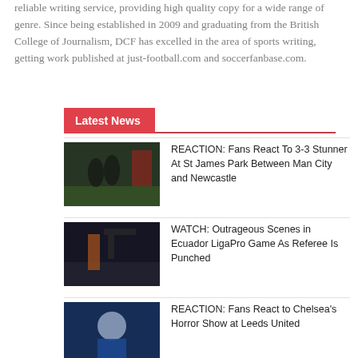reliable writing service, providing high quality copy for a wide range of genre. Since being established in 2009 and graduating from the British College of Journalism, DCF has excelled in the area of sports writing, getting work published at just-football.com and soccerfanbase.com.
Latest News
[Figure (photo): Newcastle United players celebrating on a football pitch]
REACTION: Fans React To 3-3 Stunner At St James Park Between Man City and Newcastle
[Figure (photo): A referee in an orange shirt at a football match, camera crew visible]
WATCH: Outrageous Scenes in Ecuador LigaPro Game As Referee Is Punched
[Figure (photo): A Chelsea player in blue kit looking downward]
REACTION: Fans React to Chelsea's Horror Show at Leeds United